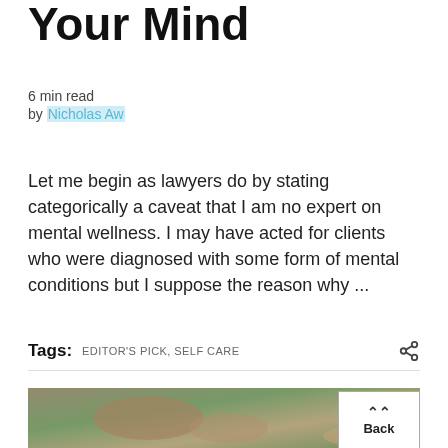Your Mind
6 min read
by Nicholas Aw
Let me begin as lawyers do by stating categorically a caveat that I am no expert on mental wellness. I may have acted for clients who were diagnosed with some form of mental conditions but I suppose the reason why ...
Tags: EDITOR'S PICK, SELF CARE
[Figure (photo): A person sitting on grass, holding a pen, photographed from above showing feet/shoes and hands with a notebook. Warm/faded tones with green grass background.]